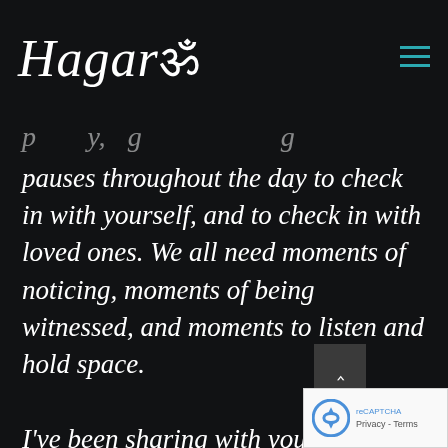Hagarॐ
pauses throughout the day to check in with yourself, and to check in with loved ones. We all need moments of noticing, moments of being witnessed, and moments to listen and hold space.
I've been sharing with you a lot of my thoughts about going back to normal. and how not normal is the new normal, and how we could benefit from embracing and leaning